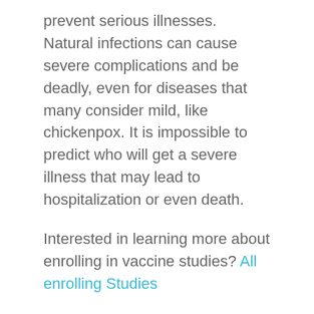prevent serious illnesses. Natural infections can cause severe complications and be deadly, even for diseases that many consider mild, like chickenpox. It is impossible to predict who will get a severe illness that may lead to hospitalization or even death.
Interested in learning more about enrolling in vaccine studies? All enrolling Studies
Sources:
https://www.cdc.gov/vaccines/hcp/conversations/und vacc-work.html
https://www.who.int/news-room/feature-